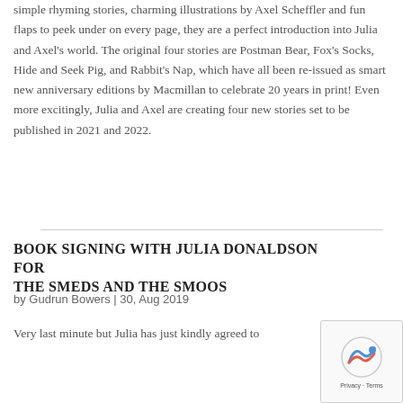simple rhyming stories, charming illustrations by Axel Scheffler and fun flaps to peek under on every page, they are a perfect introduction into Julia and Axel's world. The original four stories are Postman Bear, Fox's Socks, Hide and Seek Pig, and Rabbit's Nap, which have all been re-issued as smart new anniversary editions by Macmillan to celebrate 20 years in print! Even more excitingly, Julia and Axel are creating four new stories set to be published in 2021 and 2022.
BOOK SIGNING with JULIA DONALDSON for THE SMEDS AND THE SMOOS
by Gudrun Bowers | 30, Aug 2019
Very last minute but Julia has just kindly agreed to